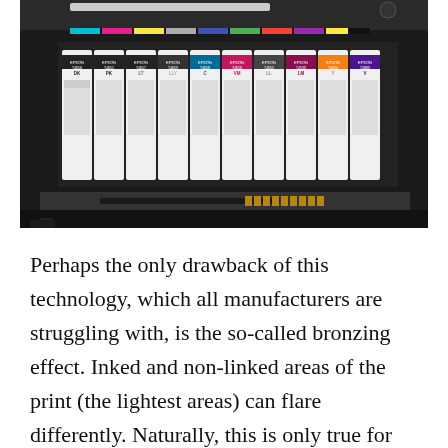[Figure (photo): A wide-format Epson printer with multiple ink cartridges visible in a row. The cartridges are labeled with Epson model numbers (T6658, T6651, T6657, T6659, T6658, T6658, T6655, T6590, T6554, T6880) and ink type abbreviations (DK, PK, LT, LLY, C, VM, LL, LM, Y, V). The printer body is black and the cartridges are white with colored labels.]
Perhaps the only drawback of this technology, which all manufacturers are struggling with, is the so-called bronzing effect. Inked and non-linked areas of the print (the lightest areas) can flare differently. Naturally, this is only true for